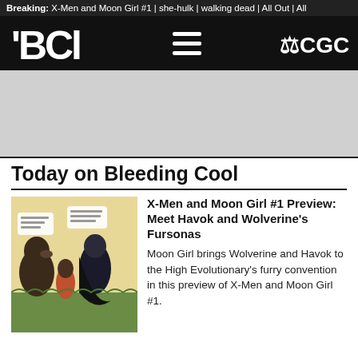Breaking: X-Men and Moon Girl #1 | she-hulk | walking dead | All Out | All
[Figure (screenshot): Bleeding Cool website navigation bar with BC logo, hamburger menu, and CGC logo on black background]
[Figure (photo): Gray advertisement banner placeholder]
Today on Bleeding Cool
[Figure (illustration): Comic book preview image showing X-Men and Moon Girl characters including furry/animal characters in a forest setting]
X-Men and Moon Girl #1 Preview: Meet Havok and Wolverine's Fursonas
Moon Girl brings Wolverine and Havok to the High Evolutionary's furry convention in this preview of X-Men and Moon Girl #1.